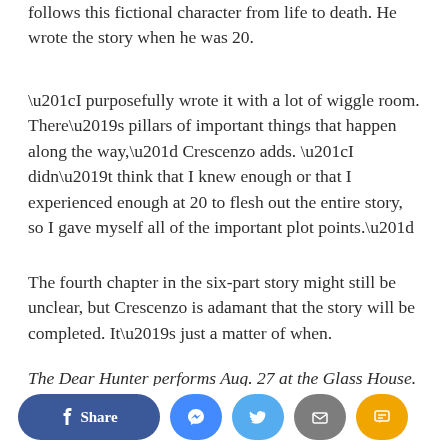follows this fictional character from life to death. He wrote the story when he was 20.
“I purposefully wrote it with a lot of wiggle room. There’s pillars of important things that happen along the way,” Crescenzo adds. “I didn’t think that I knew enough or that I experienced enough at 20 to flesh out the entire story, so I gave myself all of the important plot points.”
The fourth chapter in the six-part story might still be unclear, but Crescenzo is adamant that the story will be completed. It’s just a matter of when.
The Dear Hunter performs Aug. 27 at the Glass House. For more information, visit thedearhunter.com.
Article posted on 8/23/2011
This article has been viewed 1922 times.
[Figure (infographic): Social sharing buttons: Facebook Share, Messenger, Twitter, Email, SMS]